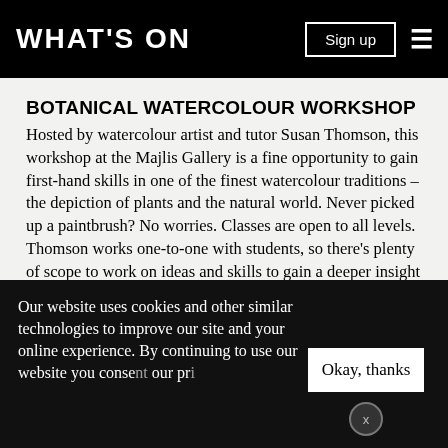WHAT'S ON
BOTANICAL WATERCOLOUR WORKSHOP
Hosted by watercolour artist and tutor Susan Thomson, this workshop at the Majlis Gallery is a fine opportunity to gain first-hand skills in one of the finest watercolour traditions – the depiction of plants and the natural world. Never picked up a paintbrush? No worries. Classes are open to all levels. Thomson works one-to-one with students, so there's plenty of scope to work on ideas and skills to gain a deeper insight of the medium.
Our website uses cookies and other similar technologies to improve our site and your online experience. By continuing to use our website you consent… our pr…